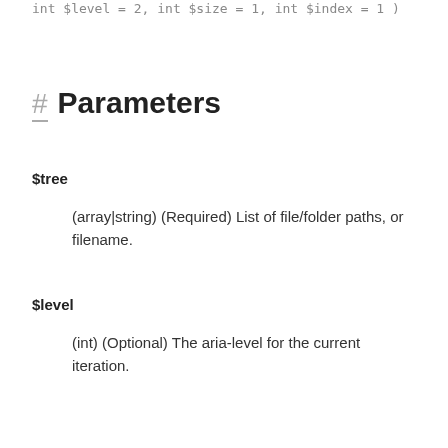int $level = 2, int $size = 1, int $index = 1 )
# Parameters
$tree
(array|string) (Required) List of file/folder paths, or filename.
$level
(int) (Optional) The aria-level for the current iteration.